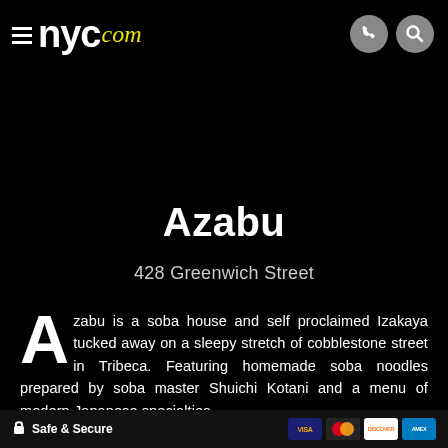≡ nyc.com
Azabu
428 Greenwich Street
Azabu is a soba house and self proclaimed Izakaya tucked away on a sleepy stretch of cobblestone street in Tribeca. Featuring homemade soba noodles prepared by soba master Shuichi Kotani and a menu of modern Japanese specialties
Safe & Secure